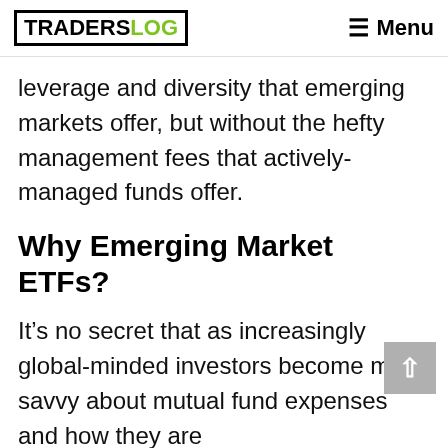TRADERSLOG  Menu
leverage and diversity that emerging markets offer, but without the hefty management fees that actively-managed funds offer.
Why Emerging Market ETFs?
It’s no secret that as increasingly global-minded investors become more savvy about mutual fund expenses and how they are